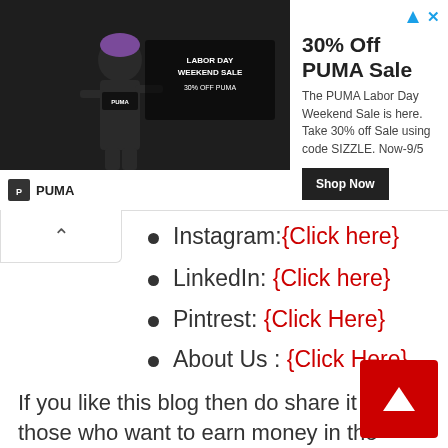[Figure (other): PUMA advertisement banner showing Labor Day Weekend Sale with athlete image, 30% off promotion, and Shop Now button. Text: '30% Off PUMA Sale', 'The PUMA Labor Day Weekend Sale is here. Take 30% off Sale using code SIZZLE. Now-9/5']
Instagram:{Click here}
LinkedIn: {Click here}
Pintrest: {Click Here}
About Us : {Click Here}
If you like this blog then do share it with those who want to earn money in the online world. Thanks for visiting us.